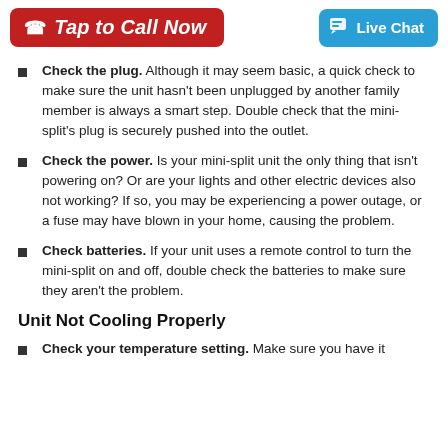[Figure (infographic): Red 'Tap to Call Now' button with phone icon on the left, and blue 'Live Chat' button with chat icon on the right, forming a header bar.]
Check the plug. Although it may seem basic, a quick check to make sure the unit hasn't been unplugged by another family member is always a smart step. Double check that the mini-split's plug is securely pushed into the outlet.
Check the power. Is your mini-split unit the only thing that isn't powering on? Or are your lights and other electric devices also not working? If so, you may be experiencing a power outage, or a fuse may have blown in your home, causing the problem.
Check batteries. If your unit uses a remote control to turn the mini-split on and off, double check the batteries to make sure they aren't the problem.
Unit Not Cooling Properly
Check your temperature setting. Make sure you have it